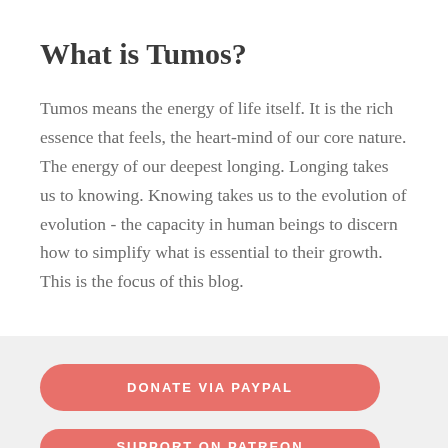What is Tumos?
Tumos means the energy of life itself. It is the rich essence that feels, the heart-mind of our core nature. The energy of our deepest longing. Longing takes us to knowing. Knowing takes us to the evolution of evolution - the capacity in human beings to discern how to simplify what is essential to their growth. This is the focus of this blog.
DONATE VIA PAYPAL
SUPPORT ON PATREON